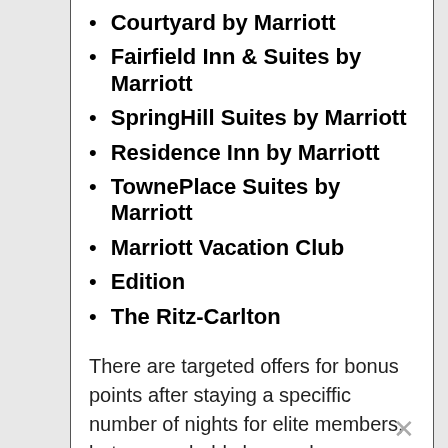Courtyard by Marriott
Fairfield Inn & Suites by Marriott
SpringHill Suites by Marriott
Residence Inn by Marriott
TownePlace Suites by Marriott
Marriott Vacation Club
Edition
The Ritz-Carlton
There are targeted offers for bonus points after staying a speciffic number of nights for elite members, but you probably know who you are already. The two free nights promotion is the basic offer for inactive and new Marriott Rewards members.
Other reported MegaBonus 2012 targeted offers from FlyerTalk: